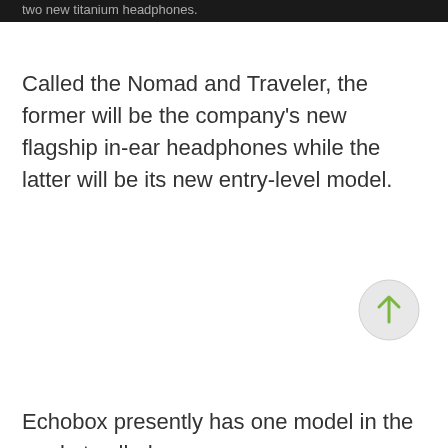two new titanium headphones.
Called the Nomad and Traveler, the former will be the company's new flagship in-ear headphones while the latter will be its new entry-level model.
[Figure (other): Scroll-to-top button: circular grey button with an upward-pointing green arrow]
Echobox presently has one model in the market called